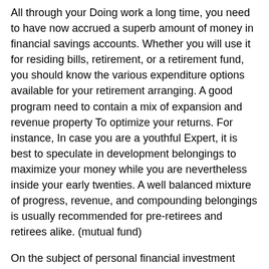All through your Doing work a long time, you need to have now accrued a superb amount of money in financial savings accounts. Whether you will use it for residing bills, retirement, or a retirement fund, you should know the various expenditure options available for your retirement arranging. A good program need to contain a mix of expansion and revenue property To optimize your returns. For instance, In case you are a youthful Expert, it is best to speculate in development belongings to maximize your money while you are nevertheless inside your early twenties. A well balanced mixture of progress, revenue, and compounding belongings is usually recommended for pre-retirees and retirees alike. (mutual fund)
On the subject of personal financial investment techniques, mutual cash are One of the ideal investments for retirement planning. These expenditure techniques offer up to fifteen% once-a-year returns. Investing for the long term will unlock the potential for compounding interest income.